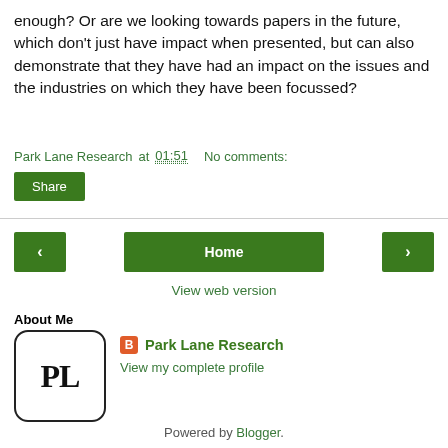enough? Or are we looking towards papers in the future, which don't just have impact when presented, but can also demonstrate that they have had an impact on the issues and the industries on which they have been focussed?
Park Lane Research at 01:51   No comments:
Share
Home
View web version
About Me
[Figure (logo): Park Lane Research logo: square with rounded corners, bold PL text inside]
Park Lane Research
View my complete profile
Powered by Blogger.